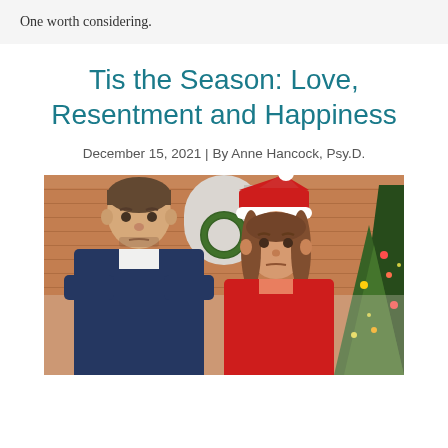One worth considering.
Tis the Season: Love, Resentment and Happiness
December 15, 2021 | By Anne Hancock, Psy.D.
[Figure (photo): A man and a woman sitting together looking upset or displeased, with a Christmas tree in the background and brick wall, woman wearing a Santa hat. Holiday setting suggesting relationship tension.]